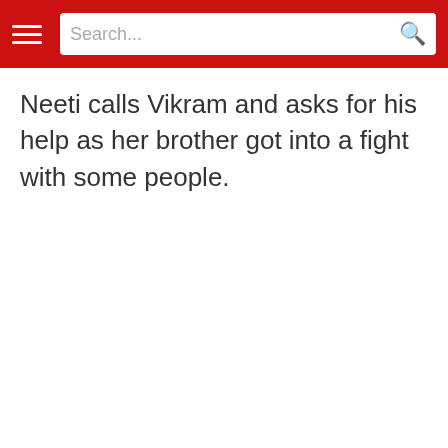Search...
Neeti calls Vikram and asks for his help as her brother got into a fight with some people.